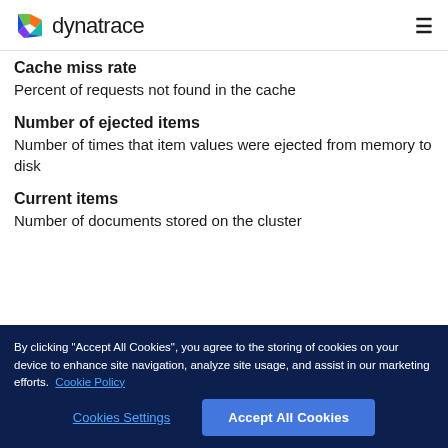dynatrace
Cache miss rate
Percent of requests not found in the cache
Number of ejected items
Number of times that item values were ejected from memory to disk
Current items
Number of documents stored on the cluster
By clicking "Accept All Cookies", you agree to the storing of cookies on your device to enhance site navigation, analyze site usage, and assist in our marketing efforts. Cookie Policy
Cookies Settings | Accept All Cookies